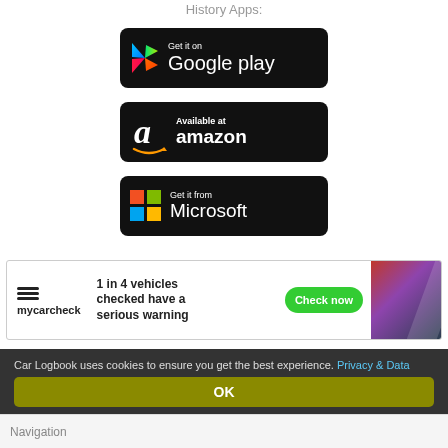History Apps:
[Figure (logo): Get it on Google Play button]
[Figure (logo): Available at Amazon button]
[Figure (logo): Get it from Microsoft button]
[Figure (other): mycarcheck advertisement: 1 in 4 vehicles checked have a serious warning. Check now button.]
Car Logbook uses cookies to ensure you get the best experience. Privacy & Data
OK
Navigation